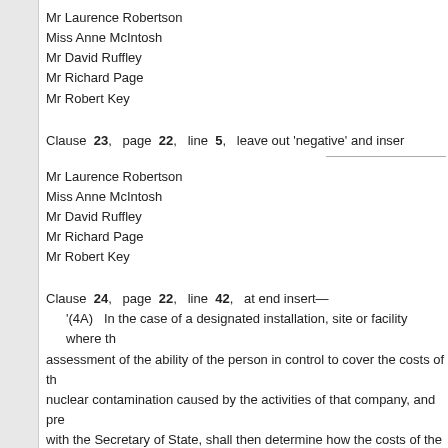Mr Laurence Robertson
Miss Anne McIntosh
Mr David Ruffley
Mr Richard Page
Mr Robert Key
Clause 23, page 22, line 5, leave out 'negative' and inser
Mr Laurence Robertson
Miss Anne McIntosh
Mr David Ruffley
Mr Richard Page
Mr Robert Key
Clause 24, page 22, line 42, at end insert—
'(4A)  In the case of a designated installation, site or facility where the assessment of the ability of the person in control to cover the costs of the nuclear contamination caused by the activities of that company, and pre with the Secretary of State, shall then determine how the costs of the de
Mr Laurence Robertson
Miss Anne McIntosh
Mr David Ruffley
Mr Richard Page